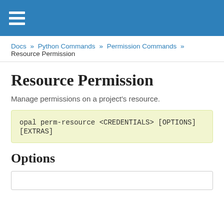☰
Docs » Python Commands » Permission Commands » Resource Permission
Resource Permission
Manage permissions on a project's resource.
Options